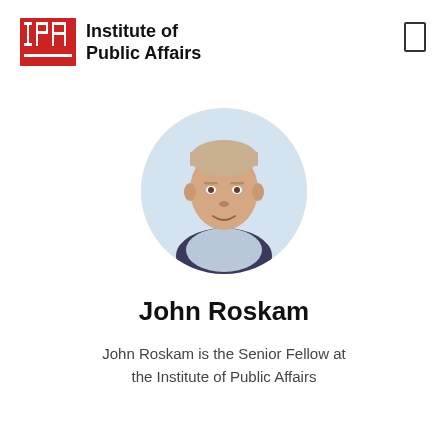[Figure (logo): Institute of Public Affairs logo — red IPA monogram with bold black text 'Institute of Public Affairs']
[Figure (photo): Circular headshot photo of John Roskam, a middle-aged man with short blonde-grey hair wearing a suit, against a light background]
John Roskam
John Roskam is the Senior Fellow at the Institute of Public Affairs